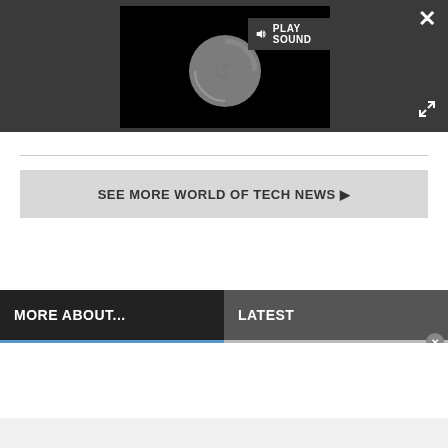[Figure (screenshot): Video player with black background showing a circular loading spinner. A 'PLAY SOUND' label with speaker icon appears in the top-left of the video area.]
SEE MORE WORLD OF TECH NEWS ▶
MORE ABOUT...
LATEST